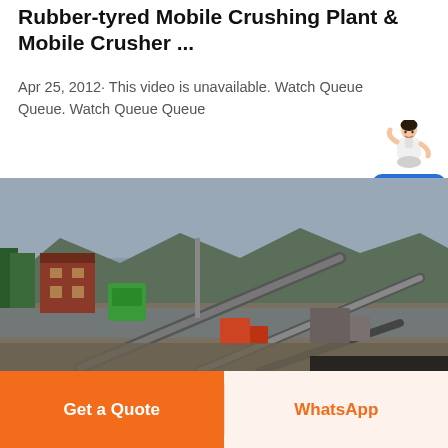Rubber-tyred Mobile Crushing Plant & Mobile Crusher ...
Apr 25, 2012· This video is unavailable. Watch Queue Queue. Watch Queue Queue
[Figure (photo): Outdoor industrial site showing a mobile crushing plant and mobile crusher equipment with conveyor belts, machinery, a red building, a green machine, and mountains in the background under an overcast sky.]
Get a Quote
WhatsApp